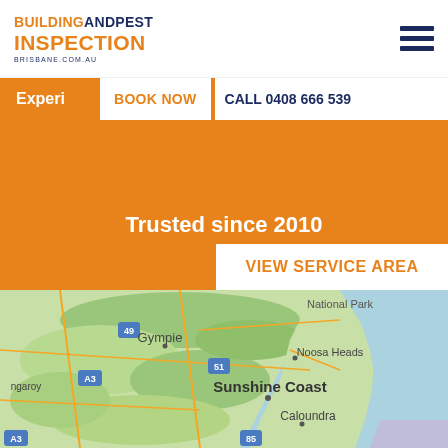BUILDING AND PEST INSPECTION BRISBANE.COM.AU
Experi... BOOK NOW  CALL 0408 666 539
Trusted since 2010
VIEW SERVICE AREA
[Figure (map): Google Maps view showing Queensland coast including National Park, Gympie (route 49), route 51, Noosa Heads, A3 road, Nangaroy area, Sunshine Coast, Caloundra, route 85, with green land areas and blue ocean to the east.]